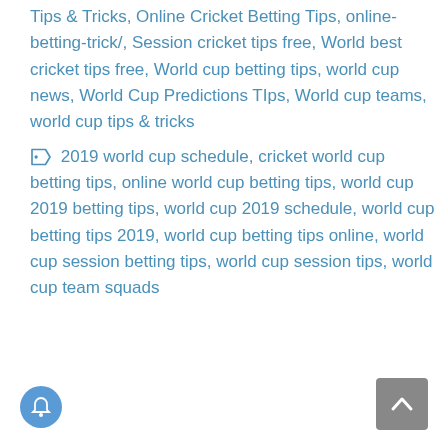Tips & Tricks, Online Cricket Betting Tips, online-betting-trick/, Session cricket tips free, World best cricket tips free, World cup betting tips, world cup news, World Cup Predictions TIps, World cup teams, world cup tips & tricks
🏷 2019 world cup schedule, cricket world cup betting tips, online world cup betting tips, world cup 2019 betting tips, world cup 2019 schedule, world cup betting tips 2019, world cup betting tips online, world cup session betting tips, world cup session tips, world cup team squads